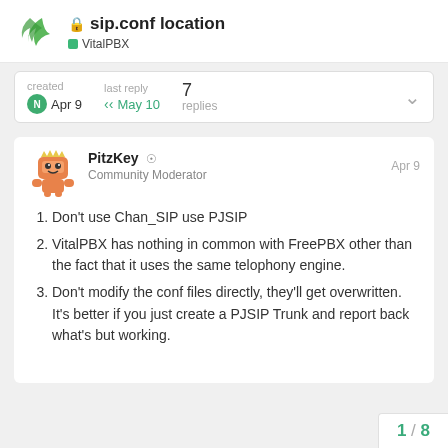sip.conf location — VitalPBX
created Apr 9   last reply May 10   7 replies
PitzKey  Community Moderator   Apr 9
Don't use Chan_SIP use PJSIP
VitalPBX has nothing in common with FreePBX other than the fact that it uses the same telophony engine.
Don't modify the conf files directly, they'll get overwritten. It's better if you just create a PJSIP Trunk and report back what's but working.
1 / 8